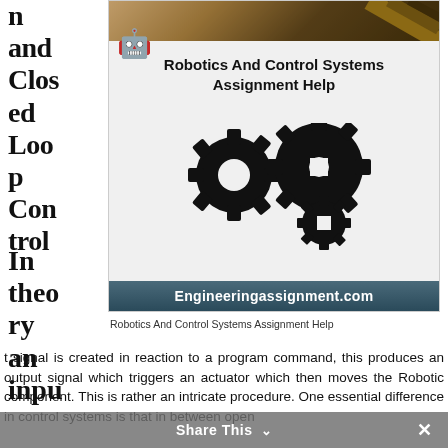n and Closed Loop Control
[Figure (illustration): Robotics And Control Systems Assignment Help banner image showing gears and engineeringassignment.com URL]
Robotics And Control Systems Assignment Help
In theory an input signal is created in reaction to a program command, this produces an output signal which triggers an actuator which then moves the Robotic component. This is rather an intricate procedure. One essential difference in control systems is that in between open
Share This